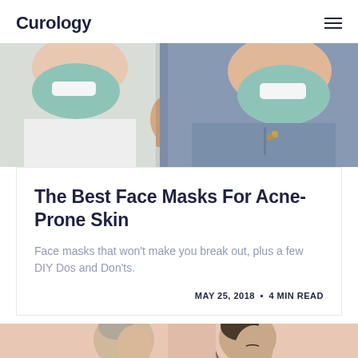Curology
[Figure (photo): Two people smiling, both wearing teal/mint face masks. One in a white shirt, one in a blue denim shirt, photographed closely together against a white background.]
The Best Face Masks For Acne-Prone Skin
Face masks that won't make you break out, plus a few DIY Dos and Don'ts.
MAY 25, 2018 • 4 MIN READ
[Figure (photo): Two people side by side against a peach/salmon background. One person with gray hair in a bun looking sideways, the other with dark hair in a bun having makeup applied with a brush.]